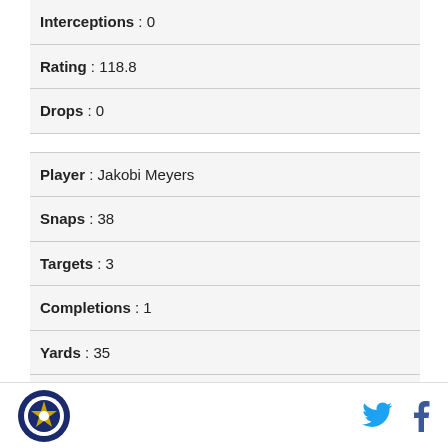Interceptions : 0
Rating : 118.8
Drops : 0
Player : Jakobi Meyers
Snaps : 38
Targets : 3
Completions : 1
Yards : 35
Yards after Catch : 26
Touchdowns : 0
Interceptions : 0
Logo | Twitter | Facebook